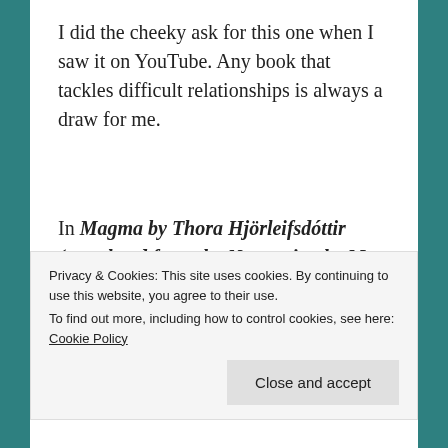I did the cheeky ask for this one when I saw it on YouTube. Any book that tackles difficult relationships is always a draw for me.
In Magma by Thora Hjörleifsdóttir (translated from the Norwegian by Meg Matich) we meet twenty year old Lilja, a woman who has fallen hard for a slightly older man who attends her university. The
Privacy & Cookies: This site uses cookies. By continuing to use this website, you agree to their use.
To find out more, including how to control cookies, see here: Cookie Policy